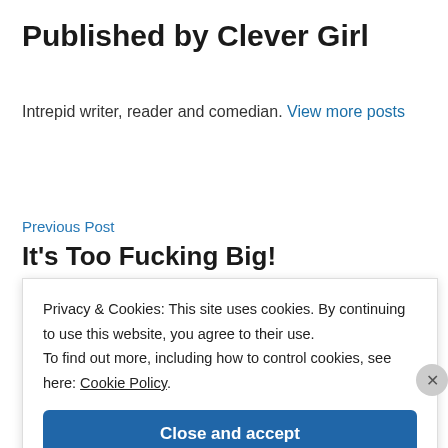Published by Clever Girl
Intrepid writer, reader and comedian. View more posts
Previous Post
It's Too Fucking Big!
Privacy & Cookies: This site uses cookies. By continuing to use this website, you agree to their use. To find out more, including how to control cookies, see here: Cookie Policy
Close and accept